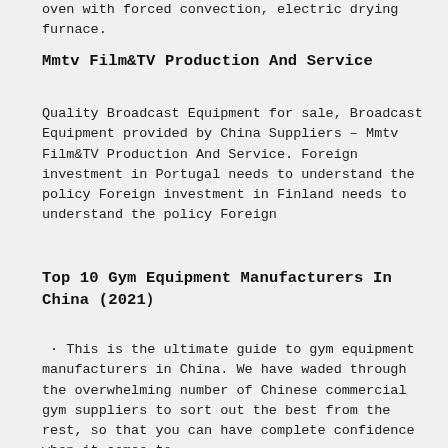oven with forced convection, electric drying furnace.
Mmtv Film&TV Production And Service
Quality Broadcast Equipment for sale, Broadcast Equipment provided by China Suppliers – Mmtv Film&TV Production And Service. Foreign investment in Portugal needs to understand the policy Foreign investment in Finland needs to understand the policy Foreign
Top 10 Gym Equipment Manufacturers In China (2021）
· This is the ultimate guide to gym equipment manufacturers in China. We have waded through the overwhelming number of Chinese commercial gym suppliers to sort out the best from the rest, so that you can have complete confidence when it comes to ...